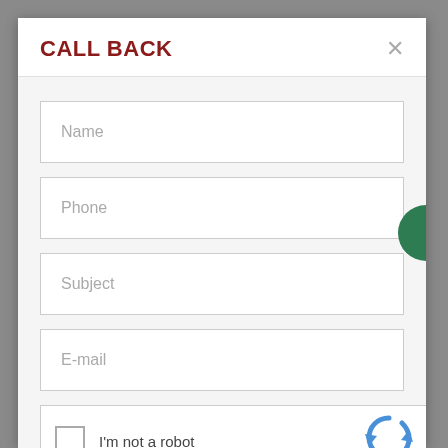CALL BACK
Name
Phone
Subject
E-mail
I'm not a robot